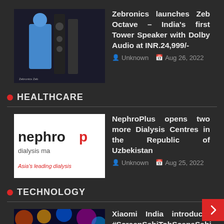[Figure (photo): Product image showing Zebronics Zeb Octave tower speaker with a person in blue outfit]
Zebronics launches Zeb Octave – India's first Tower Speaker with Dolby Audio at INR.24,999/-
Unknown  Aug 26, 2022
HEALTHCARE
[Figure (logo): NephroPlus dialysis made easy, Asia's leading dialysis logo on white background]
NephroPlus opens two more Dialysis Centres in the Republic of Uzbekistan
Unknown  Aug 25, 2022
TECHNOLOGY
[Figure (photo): Xiaomi India campaign image with colorful stage lighting and performers]
Xiaomi India introduces #ScreenSahiTohSceneSahi campaign in collaboration with Anurag Kashyap and Vaani Kapoor